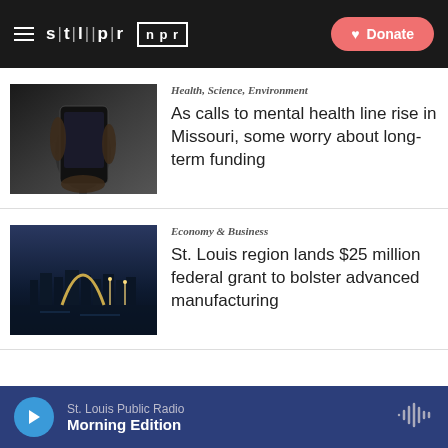stlpr | npr — Donate
[Figure (photo): Hands holding a smartphone in a dark environment]
Health, Science, Environment
As calls to mental health line rise in Missouri, some worry about long-term funding
[Figure (photo): St. Louis Gateway Arch skyline at dusk with city lights reflecting on water]
Economy & Business
St. Louis region lands $25 million federal grant to bolster advanced manufacturing
St. Louis Public Radio — Morning Edition